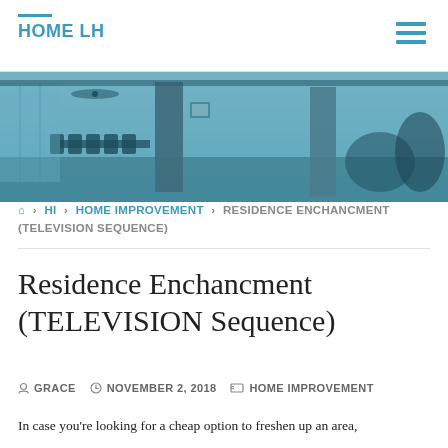HOME LH
[Figure (photo): Teal-tinted wide-angle photo of an outdoor living area with brick columns, dining table with chairs, ceiling fan, and tropical plants]
⌂ > HI > HOME IMPROVEMENT > RESIDENCE ENCHANCMENT (TELEVISION SEQUENCE)
Residence Enchancment (TELEVISION Sequence)
GRACE   NOVEMBER 2, 2018   HOME IMPROVEMENT
In case you're looking for a cheap option to freshen up an area,